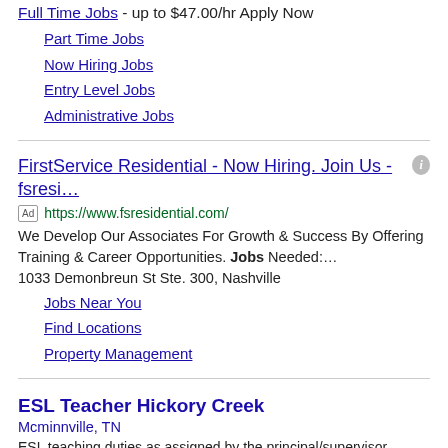Full Time Jobs - up to $47.00/hr Apply Now
Part Time Jobs
Now Hiring Jobs
Entry Level Jobs
Administrative Jobs
FirstService Residential - Now Hiring. Join Us - fsresi...
Ad https://www.fsresidential.com/
We Develop Our Associates For Growth & Success By Offering Training & Career Opportunities. Jobs Needed:… 1033 Demonbreun St Ste. 300, Nashville
Jobs Near You
Find Locations
Property Management
ESL Teacher Hickory Creek
Mcminnville, TN
ESL teaching duties as assigned by the principal/supervisor.